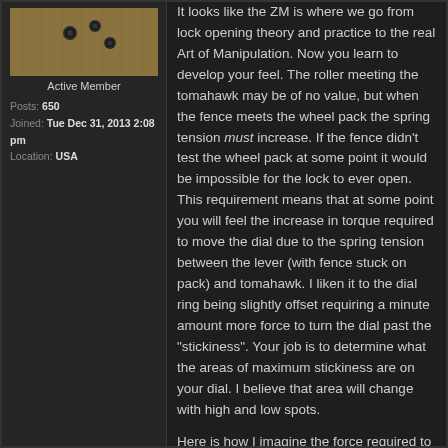[Figure (photo): User avatar image showing wooden surface with nails or screws]
Active Member
Posts: 650
Joined: Tue Dec 31, 2013 2:08 pm
Location: USA
It looks like the ZM is where we go from lock opening theory and practice to the real Art of Manipulation. Now you learn to develop your feel. The roller meeting the tomahawk may be of no value, but when the fence meets the wheel pack the spring tension must increase. If the fence didn't test the wheel pack at some point it would be impossible for the lock to ever open. This requirement means that at some point you will feel the increase in torque required to move the dial due to the spring tension between the lever (with fence stuck on pack) and tomahawk. I liken it to the dial ring being slightly offset requiring a minute amount more force to turn the dial past the "stickiness". Your job is to determine what the areas of maximum stickiness are on your dial. I believe that area will change with high and low spots.

Here is how I imagine the force required to turn the dial.